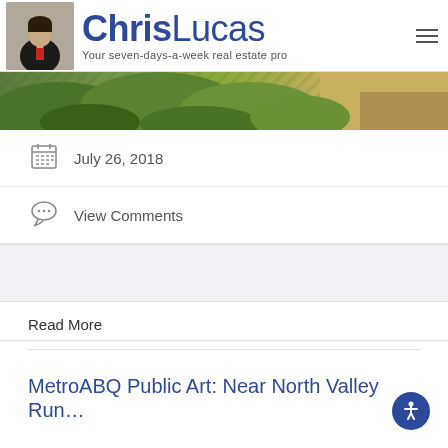ChrisLucas — Your seven-days-a-week real estate pro
[Figure (photo): Outdoor landscape photo showing green shrubs and desert terrain, used as hero banner strip]
July 26, 2018
View Comments
Read More
MetroABQ Public Art: Near North Valley Run…